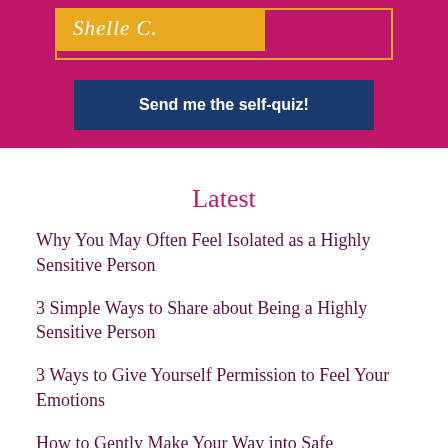[Figure (other): Top banner section with magenta/pink background containing a yellow-gold name box with cursive text 'Shelle C.' and an outlined box, plus a dark navy blue button labeled 'Send me the self-quiz!']
Latest
Why You May Often Feel Isolated as a Highly Sensitive Person
3 Simple Ways to Share about Being a Highly Sensitive Person
3 Ways to Give Yourself Permission to Feel Your Emotions
How to Gently Make Your Way into Safe